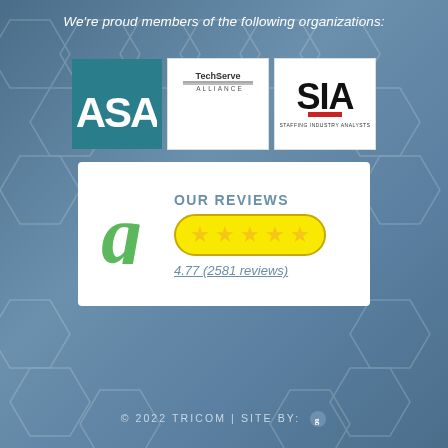We're proud members of the following organizations:
[Figure (logo): ASA logo (teal background with white ASA letters)]
[Figure (logo): TechServe Alliance logo]
[Figure (logo): SIA Staffing Industry Analysts logo]
[Figure (infographic): GoodFirms review widget: OUR REVIEWS, 5 gold stars in yellow pill, rating 4.77 (2581 reviews)]
© 2022 TRICOM | SITE BY: